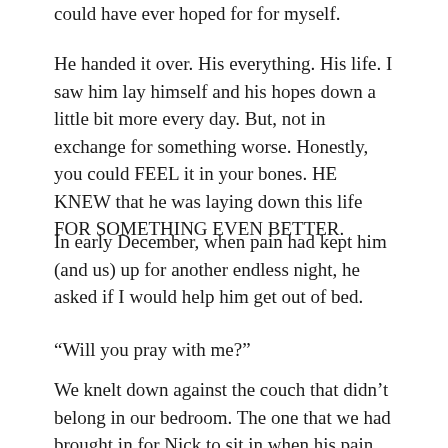could have ever hoped for for myself.
He handed it over. His everything. His life. I saw him lay himself and his hopes down a little bit more every day. But, not in exchange for something worse. Honestly, you could FEEL it in your bones. HE KNEW that he was laying down this life FOR SOMETHING EVEN BETTER.
In early December, when pain had kept him (and us) up for another endless night, he asked if I would help him get out of bed.
“Will you pray with me?”
We knelt down against the couch that didn’t belong in our bedroom. The one that we had brought in for Nick to sit in when his pain was so bad that lying down at any angle caused intense pain to shoot